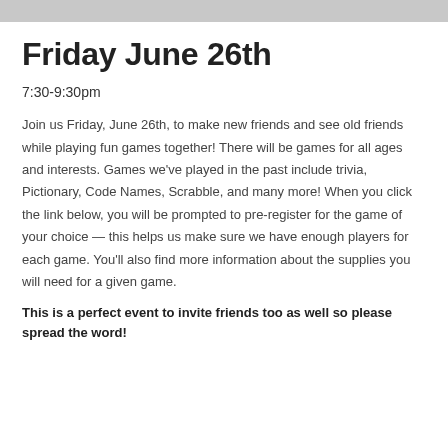[Figure (other): Gray decorative header bar at top of page]
Friday June 26th
7:30-9:30pm
Join us Friday, June 26th, to make new friends and see old friends while playing fun games together! There will be games for all ages and interests. Games we've played in the past include trivia, Pictionary, Code Names, Scrabble, and many more! When you click the link below, you will be prompted to pre-register for the game of your choice — this helps us make sure we have enough players for each game. You'll also find more information about the supplies you will need for a given game.
This is a perfect event to invite friends too as well so please spread the word!